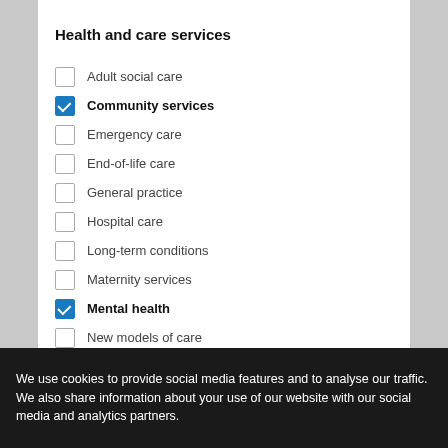Health and care services
Adult social care
Community services
Emergency care
End-of-life care
General practice
Hospital care
Long-term conditions
Maternity services
Mental health
New models of care
Public health
Sexual health care
We use cookies to provide social media features and to analyse our traffic. We also share information about your use of our website with our social media and analytics partners.